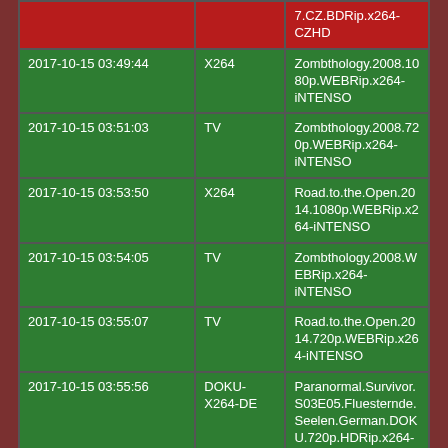| Date/Time | Type | Title |
| --- | --- | --- |
|  |  | 7.CZ.BDRip.x264-CZHD |
| 2017-10-15 03:49:44 | X264 | Zombthology.2008.1080p.WEBRip.x264-iNTENSO |
| 2017-10-15 03:51:03 | TV | Zombthology.2008.720p.WEBRip.x264-iNTENSO |
| 2017-10-15 03:53:50 | X264 | Road.to.the.Open.2014.1080p.WEBRip.x264-iNTENSO |
| 2017-10-15 03:54:05 | TV | Zombthology.2008.WEBRip.x264-iNTENSO |
| 2017-10-15 03:55:07 | TV | Road.to.the.Open.2014.720p.WEBRip.x264-iNTENSO |
| 2017-10-15 03:55:56 | DOKU-X264-DE | Paranormal.Survivor.S03E05.Fluesternde.Seelen.German.DOKU.720p.HDRip.x264-ATiX |